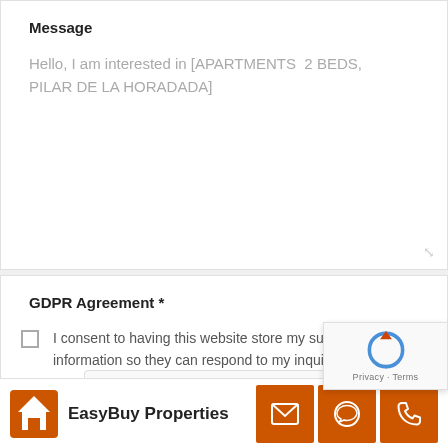Message
Hello, I am interested in [APARTMENTS 2 BEDS, PILAR DE LA HORADADA]
GDPR Agreement *
I consent to having this website store my submitted information so they can respond to my inquiry.
I'm not a robot
EasyBuy Properties